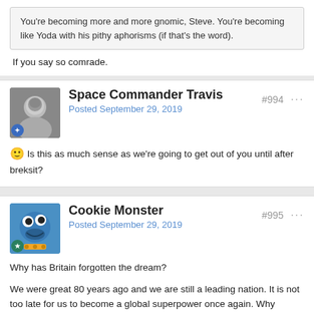You're becoming more and more gnomic, Steve. You're becoming like Yoda with his pithy aphorisms (if that's the word).
If you say so comrade.
Space Commander Travis
Posted September 29, 2019
#994
🙂 Is this as much sense as we're going to get out of you until after breksit?
Cookie Monster
Posted September 29, 2019
#995
Why has Britain forgotten the dream?
We were great 80 years ago and we are still a leading nation. It is not too late for us to become a global superpower once again. Why should